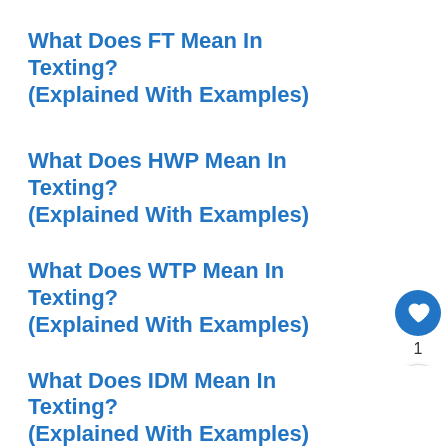What Does FT Mean In Texting? (Explained With Examples)
What Does HWP Mean In Texting? (Explained With Examples)
What Does WTP Mean In Texting? (Explained With Examples)
What Does AFK Mean In Texting? (Explained With Examples)
What Does YD Mean In Texting? (Explained With Examples)
What Does IDM Mean In Texting? (Explained With Examples)